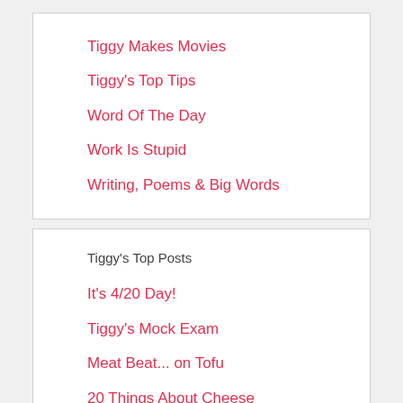Tiggy Makes Movies
Tiggy's Top Tips
Word Of The Day
Work Is Stupid
Writing, Poems & Big Words
Tiggy's Top Posts
It's 4/20 Day!
Tiggy's Mock Exam
Meat Beat... on Tofu
20 Things About Cheese
New Swear Words - Just For You!